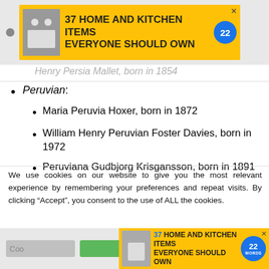[Figure (other): Advertisement banner: '37 HOME AND KITCHEN ITEMS EVERYONE SHOULD OWN' with yellow background and blue badge showing '22']
Henry Persia Mallet, born in 1854
Peruvian:
Maria Peruvia Hoxer, born in 1872
William Henry Peruvian Foster Davies, born in 1972
Peruviana Gudbjorg Krisgansson, born in 1891
We use cookies on our website to give you the most relevant experience by remembering your preferences and repeat visits. By clicking “Accept”, you consent to the use of ALL the cookies.
Do not sell my personal information.
[Figure (other): Bottom advertisement banner: '37 HOME AND KITCHEN ITEMS EVERYONE SHOULD OWN' with yellow background and blue badge showing '22 WORDS'. CLOSE button on right.]